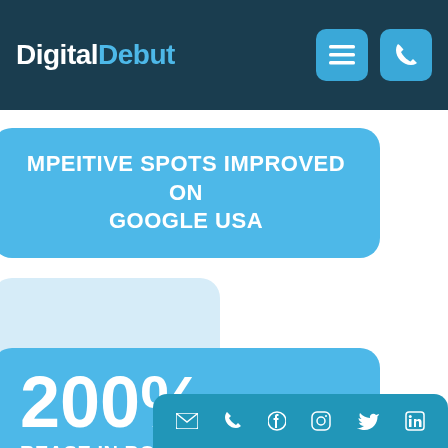Digital Debut
COMPETITIVE SPOTS IMPROVED ON GOOGLE USA
TRAFFIC
200%
INCREASE IN BOOKINGS RE...
Social media icons: email, phone, facebook, instagram, twitter, linkedin